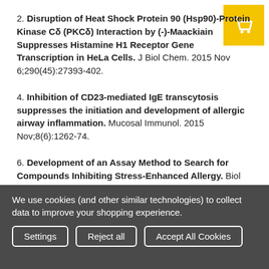[Figure (logo): Shopping cart icon on yellow background]
2. Disruption of Heat Shock Protein 90 (Hsp90)-Protein Kinase Cδ (PKCδ) Interaction by (-)-Maackiain Suppresses Histamine H1 Receptor Gene Transcription in HeLa Cells. J Biol Chem. 2015 Nov 6;290(45):27393-402.
4. Inhibition of CD23-mediated IgE transcytosis suppresses the initiation and development of allergic airway inflammation. Mucosal Immunol. 2015 Nov;8(6):1262-74.
6. Development of an Assay Method to Search for Compounds Inhibiting Stress-Enhanced Allergy. Biol Pharm Bull. 2016;39(5):874-8.
We use cookies (and other similar technologies) to collect data to improve your shopping experience.